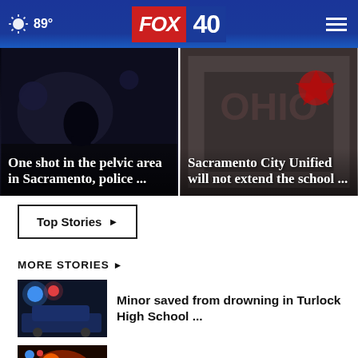89° FOX 40
[Figure (photo): Dark nighttime street scene, hero image for shooting story]
One shot in the pelvic area in Sacramento, police ...
[Figure (photo): Ohio sign or school-related image for Sacramento City Unified story]
Sacramento City Unified will not extend the school ...
Top Stories ▶
MORE STORIES ▶
[Figure (photo): Police car with flashing blue and red lights at Turlock High School]
Minor saved from drowning in Turlock High School ...
[Figure (photo): Emergency lights and fire at crash scene in ditch]
Man hit by two vehicles after crashing car into ditch